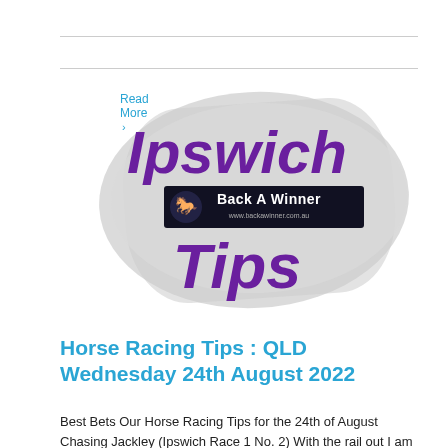Read More >
[Figure (logo): Ipswich Tips promotional image with Back A Winner logo on a grey brushstroke background. Large purple bold text reads 'Ipswich' and 'Tips', with a black badge showing a horse silhouette and 'Back A Winner' text with website www.backawinner.com.au]
Horse Racing Tips : QLD Wednesday 24th August 2022
Best Bets Our Horse Racing Tips for the 24th of August Chasing Jackley (Ipswich Race 1 No. 2) With the rail out I am going with a